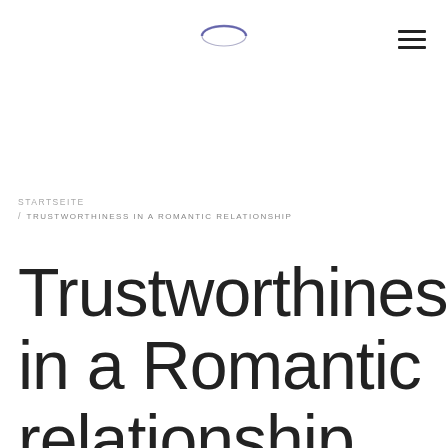[Figure (logo): Small circular logo with dark blue/purple arc shape, website logo at top center]
≡ (hamburger menu icon)
STARTSEITE / TRUSTWORTHINESS IN A ROMANTIC RELATIONSHIP
Trustworthiness in a Romantic relationship